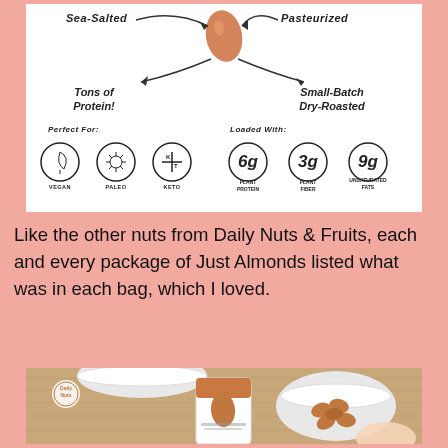[Figure (infographic): Product infographic for Just Almonds showing: Sea-Salted, Pasteurized, Tons of Protein!, Small-Batch Dry-Roasted, with circular icons for Perfect For (Vegan, Paleo, Keto) and Loaded With (6g Plant Protein, 3g Plant Fiber, 9g Unsaturated Fats)]
Like the other nuts from Daily Nuts & Fruits, each and every package of Just Almonds listed what was in each bag, which I loved.
[Figure (photo): Photo of Just Almonds product package on a wooden table with almonds in a white bowl and partial white bowl in background, Daily Nuts logo visible]